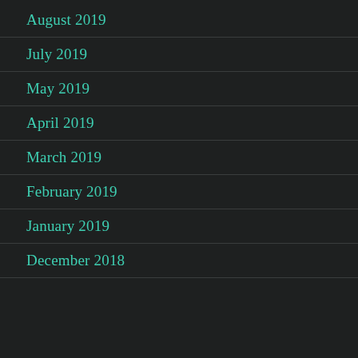August 2019
July 2019
May 2019
April 2019
March 2019
February 2019
January 2019
December 2018